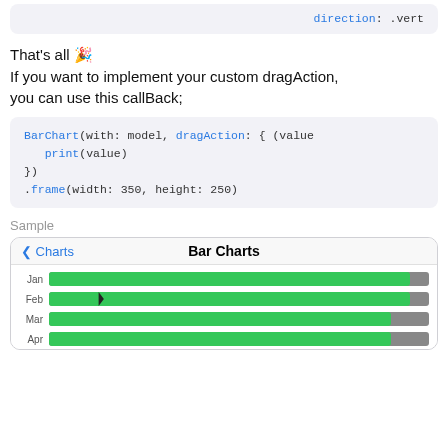[Figure (screenshot): Code snippet showing 'direction: .vert' in a gray rounded box]
That's all 🎉
If you want to implement your custom dragAction, you can use this callBack;
[Figure (screenshot): Code block showing BarChart(with: model, dragAction: { (value)
  print(value)
})
.frame(width: 350, height: 250)]
Sample
[Figure (bar-chart): iOS-style horizontal bar chart showing Jan, Feb, Mar, Apr bars with green fill on gray background tracks]